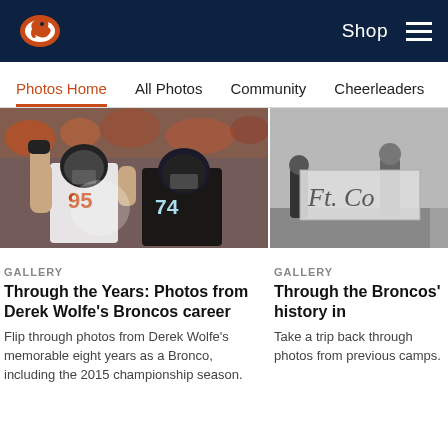Denver Broncos — Shop | Navigation
Photos Home | All Photos | Community | Cheerleaders
[Figure (photo): Denver Broncos player #95 Derek Wolfe celebrating with fist raised, facing Carolina Panthers player #74, during a game]
GALLERY
Through the Years: Photos from Derek Wolfe's Broncos career
Flip through photos from Derek Wolfe's memorable eight years as a Bronco, including the 2015 championship season.
[Figure (photo): Black and white vintage photo of Broncos players holding a Ft. Collins banner]
GALLERY
Through the Broncos' history in
Take a trip back through photos from previous camps.